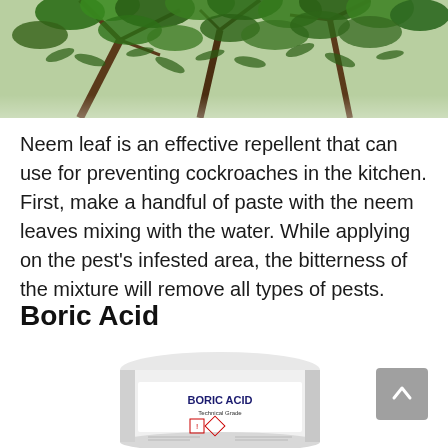[Figure (photo): Neem tree with green leaves photographed from below, showing branches and foliage against a light background]
Neem leaf is an effective repellent that can use for preventing cockroaches in the kitchen. First, make a handful of paste with the neem leaves mixing with the water. While applying on the pest’s infested area, the bitterness of the mixture will remove all types of pests.
Boric Acid
[Figure (photo): White cylindrical container labeled BORIC ACID with product details and hazard symbols on the label]